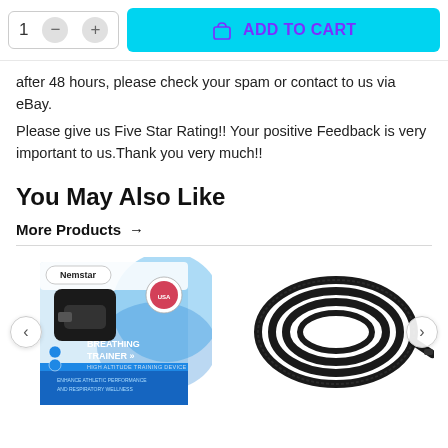[Figure (screenshot): Add to cart UI with quantity selector (showing 1, minus and plus buttons) and a cyan 'ADD TO CART' button with shopping bag icon]
after 48 hours, please check your spam or contact to us via eBay.
Please give us Five Star Rating!! Your positive Feedback is very important to us.Thank you very much!!
You May Also Like
More Products →
[Figure (photo): Product image of Nemstar Breathing Trainer device in its box packaging, showing a black breathing trainer with blue and white box design]
[Figure (photo): Product image of a coiled black rubber tubing/hose]